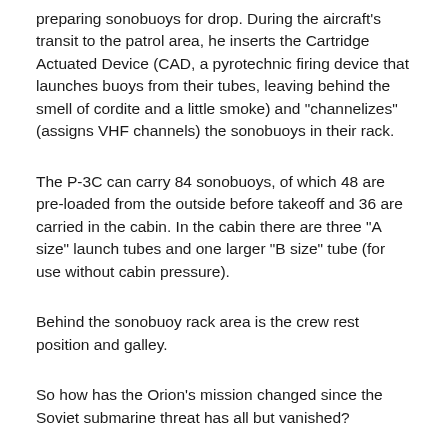preparing sonobuoys for drop. During the aircraft's transit to the patrol area, he inserts the Cartridge Actuated Device (CAD, a pyrotechnic firing device that launches buoys from their tubes, leaving behind the smell of cordite and a little smoke) and "channelizes" (assigns VHF channels) the sonobuoys in their rack.
The P-3C can carry 84 sonobuoys, of which 48 are pre-loaded from the outside before takeoff and 36 are carried in the cabin. In the cabin there are three "A size" launch tubes and one larger "B size" tube (for use without cabin pressure).
Behind the sonobuoy rack area is the crew rest position and galley.
So how has the Orion's mission changed since the Soviet submarine threat has all but vanished?